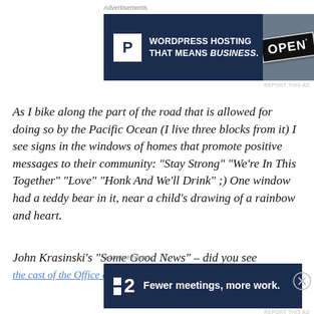[Figure (other): Top advertisement banner: dark navy background with white P logo box, text 'WORDPRESS HOSTING THAT MEANS BUSINESS.' in white bold, and an OPEN sign photo on the right]
As I bike along the part of the road that is allowed for doing so by the Pacific Ocean (I live three blocks from it) I see signs in the windows of homes that promote positive messages to their community: “Stay Strong” “We’re In This Together” “Love” “Honk And We’ll Drink” ;) One window had a teddy bear in it, near a child’s drawing of a rainbow and heart.
John Krasinski’s “Some Good News” – did you see the cast of the Office dance?? There’s a little
[Figure (other): Bottom advertisement banner: dark navy background with P2 logo (two small white squares and number 2), tagline 'Fewer meetings, more work.' in white bold]